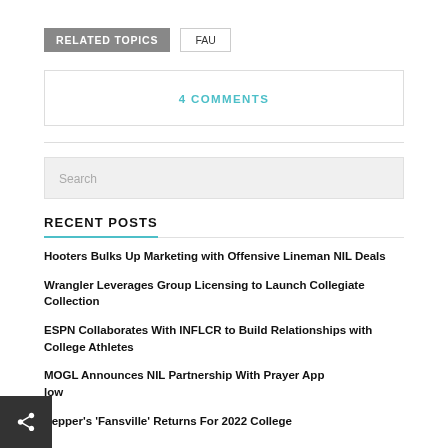RELATED TOPICS
FAU
4 COMMENTS
Search
RECENT POSTS
Hooters Bulks Up Marketing with Offensive Lineman NIL Deals
Wrangler Leverages Group Licensing to Launch Collegiate Collection
ESPN Collaborates With INFLCR to Build Relationships with College Athletes
MOGL Announces NIL Partnership With Prayer App low
Pepper's 'Fansville' Returns For 2022 College